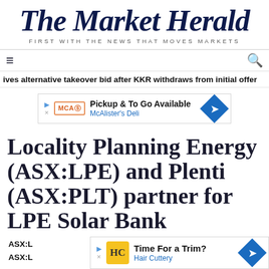The Market Herald — FIRST WITH THE NEWS THAT MOVES MARKETS
ives alternative takeover bid after KKR withdraws from initial offer
[Figure (infographic): Advertisement banner: Pickup & To Go Available — McAlister's Deli]
Locality Planning Energy (ASX:LPE) and Plenti (ASX:PLT) partner for LPE Solar Bank
ASX:L
ASX:L
[Figure (infographic): Advertisement banner: Time For a Trim? — Hair Cuttery]